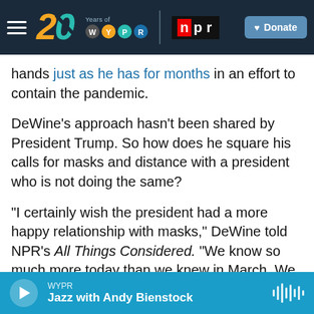[Figure (screenshot): WYPR 20 Years / NPR navigation header bar with hamburger menu, WYPR 20th anniversary logo, NPR logo, and Donate button]
hands just as he has for months in an effort to contain the pandemic.
DeWine's approach hasn't been shared by President Trump. So how does he square his calls for masks and distance with a president who is not doing the same?
"I certainly wish the president had a more happy relationship with masks," DeWine told NPR's All Things Considered. "We know so much more today than we knew in March. We now know that these masks really work."
[Figure (screenshot): Bottom audio player bar showing WYPR station and Jazz with Andy Bienstock program with play button and waveform icon]